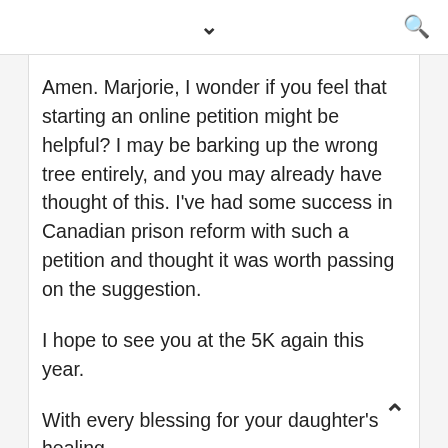▾ 🔍
Amen. Marjorie, I wonder if you feel that starting an online petition might be helpful? I may be barking up the wrong tree entirely, and you may already have thought of this. I've had some success in Canadian prison reform with such a petition and thought it was worth passing on the suggestion.

I hope to see you at the 5K again this year.

With every blessing for your daughter's healing,
Mike